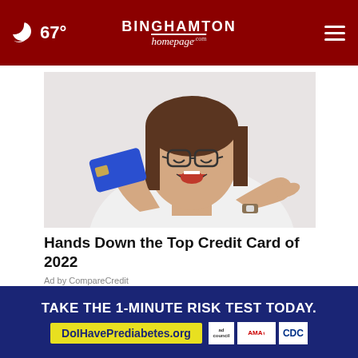67° BINGHAMTON homepage.com
[Figure (photo): Woman with glasses holding a blue credit card and pointing at it excitedly, white background]
Hands Down the Top Credit Card of 2022
Ad by CompareCredit
AROUND THE WEB
[Figure (photo): Partially visible image at the bottom of the page]
TAKE THE 1-MINUTE RISK TEST TODAY.
DoIHavePrediabetes.org